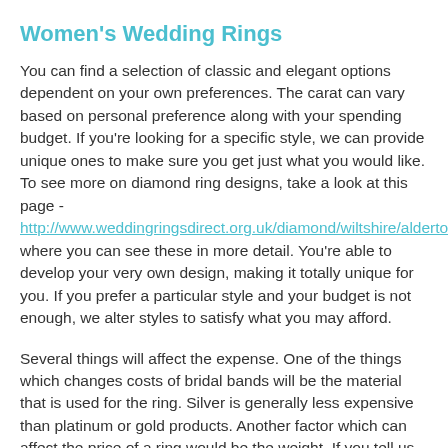Women's Wedding Rings
You can find a selection of classic and elegant options dependent on your own preferences. The carat can vary based on personal preference along with your spending budget. If you're looking for a specific style, we can provide unique ones to make sure you get just what you would like. To see more on diamond ring designs, take a look at this page - http://www.weddingringsdirect.org.uk/diamond/wiltshire/alderton/ where you can see these in more detail. You're able to develop your very own design, making it totally unique for you. If you prefer a particular style and your budget is not enough, we alter styles to satisfy what you may afford.
Several things will affect the expense. One of the things which changes costs of bridal bands will be the material that is used for the ring. Silver is generally less expensive than platinum or gold products. Another factor which can affect the price of a ring would be the weight. If you tell us your budget in advance, then our staff can help you pick a ring you can afford. The cut of the ring could also have an effect upon the price; if you need more info on the